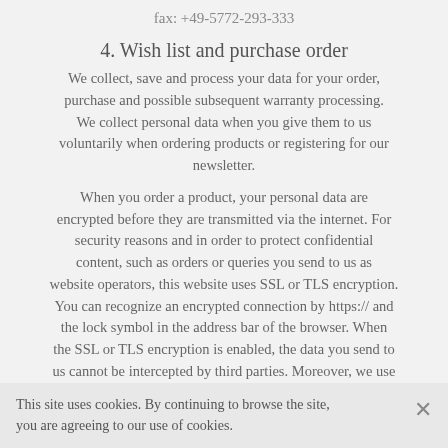fax: +49-5772-293-333
4. Wish list and purchase order
We collect, save and process your data for your order, purchase and possible subsequent warranty processing. We collect personal data when you give them to us voluntarily when ordering products or registering for our newsletter.
When you order a product, your personal data are encrypted before they are transmitted via the internet. For security reasons and in order to protect confidential content, such as orders or queries you send to us as website operators, this website uses SSL or TLS encryption. You can recognize an encrypted connection by https:// and the lock symbol in the address bar of the browser. When the SSL or TLS encryption is enabled, the data you send to us cannot be intercepted by third parties. Moreover, we use
This site uses cookies. By continuing to browse the site, you are agreeing to our use of cookies.